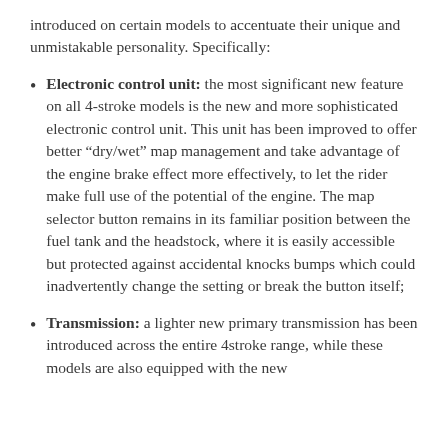introduced on certain models to accentuate their unique and unmistakable personality. Specifically:
Electronic control unit: the most significant new feature on all 4-stroke models is the new and more sophisticated electronic control unit. This unit has been improved to offer better “dry/wet” map management and take advantage of the engine brake effect more effectively, to let the rider make full use of the potential of the engine. The map selector button remains in its familiar position between the fuel tank and the headstock, where it is easily accessible but protected against accidental knocks bumps which could inadvertently change the setting or break the button itself;
Transmission: a lighter new primary transmission has been introduced across the entire 4stroke range, while these models are also equipped with the new